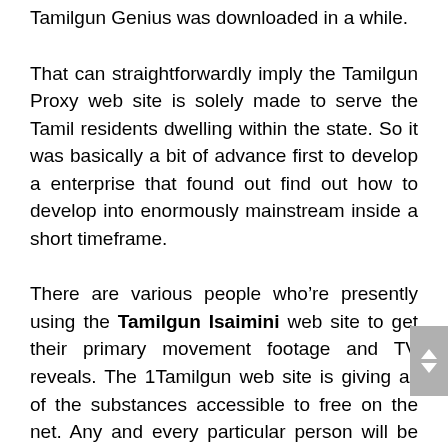Tamilgun Genius was downloaded in a while.
That can straightforwardly imply the Tamilgun Proxy web site is solely made to serve the Tamil residents dwelling within the state. So it was basically a bit of advance first to develop a enterprise that found out find out how to develop into enormously mainstream inside a short timeframe.
There are various people who’re presently using the Tamilgun Isaimini web site to get their primary movement footage and TV reveals. The 1Tamilgun web site is giving all of the substances accessible to free on the net. Any and every particular person will be capable to supply differing types of movement footage and net sequence on the